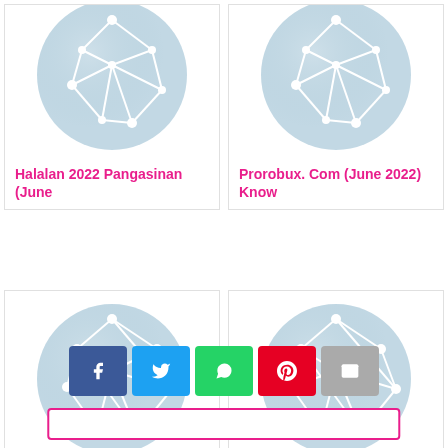[Figure (illustration): Network/globe icon placeholder - partial top card for Halalan 2022 Pangasinan]
Halalan 2022 Pangasinan (June
[Figure (illustration): Network/globe icon placeholder - partial top card for Prorobux.Com]
Prorobux. Com (June 2022) Know
[Figure (illustration): Network/globe icon placeholder - full card for A one Stop Shop]
A one Stop Shop for all Your Mobile
[Figure (illustration): Network/globe icon placeholder - full card for Baby Formula Shortage Canada]
Baby Formula Shortage Canada